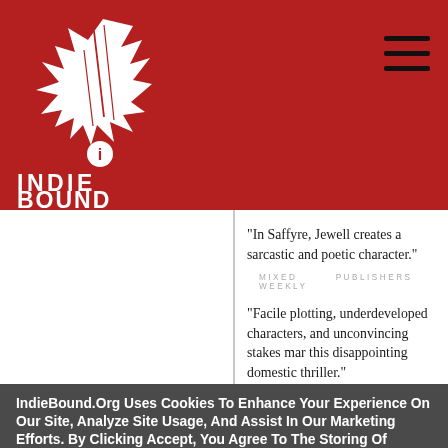[Figure (logo): IndieBound logo: white bird/book graphic with INDIE BOUND text below, on red background]
"In Saffyre, Jewell creates a sarcastic and poetic character."
MIXED    PUBLISHERS WEEKLY
"Facile plotting, underdeveloped characters, and unconvincing stakes mar this disappointing domestic thriller."
IndieBound.Org Uses Cookies To Enhance Your Experience On Our Site, Analyze Site Usage, And Assist In Our Marketing Efforts. By Clicking Accept, You Agree To The Storing Of Cookies On Your Device. View Our Cookie Policy.
Give me more info
Accept all Cookies